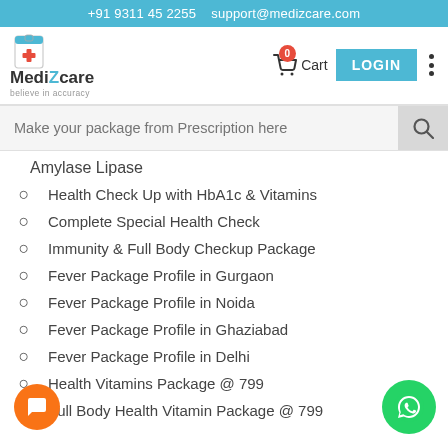+91 9311 45 2255   support@medizcare.com
[Figure (logo): MediZcare logo with medical cross icon and tagline 'believe in accuracy']
Make your package from Prescription here
Amylase Lipase
Health Check Up with HbA1c & Vitamins
Complete Special Health Check
Immunity & Full Body Checkup Package
Fever Package Profile in Gurgaon
Fever Package Profile in Noida
Fever Package Profile in Ghaziabad
Fever Package Profile in Delhi
Health Vitamins Package @ 799
Full Body Health Vitamin Package @ 799